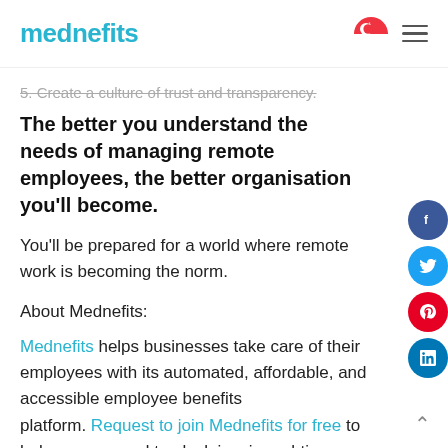mednefits
5. Create a culture of trust and transparency.
The better you understand the needs of managing remote employees, the better organisation you'll become.
You'll be prepared for a world where remote work is becoming the norm.
About Mednefits:
Mednefits helps businesses take care of their employees with its automated, affordable, and accessible employee benefits platform. Request to join Mednefits for free to help process and track claims in real-time, while